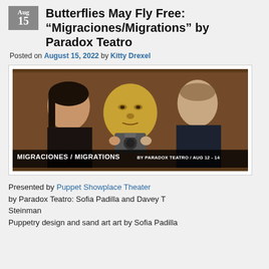Butterflies May Fly Free: “Migraciones/Migrations” by Paradox Teatro
Posted on August 15, 2022 by Kitty Drexel
[Figure (photo): Theater promotional photo showing two performers flanking a large puppet head holding a camera. Text overlay reads: MIGRACIONES / MIGRATIONS BY PARADOX TEATRO / AUG 12 - 14]
Presented by Puppet Showplace Theater
by Paradox Teatro: Sofia Padilla and Davey T Steinman
Puppetry design and sand art art by Sofia Padilla